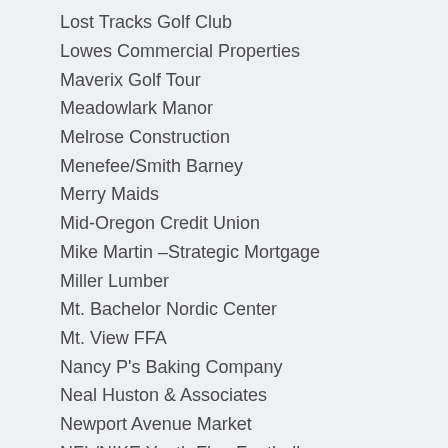Lost Tracks Golf Club
Lowes Commercial Properties
Maverix Golf Tour
Meadowlark Manor
Melrose Construction
Menefee/Smith Barney
Merry Maids
Mid-Oregon Credit Union
Mike Martin –Strategic Mortgage
Miller Lumber
Mt. Bachelor Nordic Center
Mt. View FFA
Nancy P's Baking Company
Neal Huston & Associates
Newport Avenue Market
NFL/NIKE Youth Flag Football
Northwest Community Credit Union
Olah Arts
Old Mill Mortgage
OMSI – Oregon Museum of Science & Industry
Oregon Adaptive Sports
Oregon Department of Fish and Wildlife
Oregon Scout Villa di...